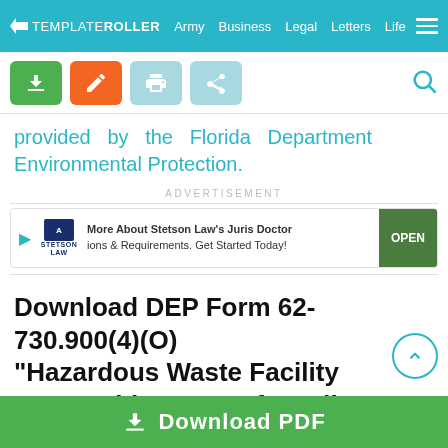TEMPLATEROLLER  Army  Business  Legal  Letters  Life
[Figure (screenshot): Toolbar with download (green), edit (orange), print (light blue), share (light blue) buttons and search icon]
provided by the Florida Department Environmental Protection.
ADVERTISEMENT
[Figure (screenshot): Advertisement banner for Stetson Law's Juris Doctor program with OPEN button]
Download DEP Form 62-730.900(4)(O) "Hazardous Waste Facility Irrevocable Letter of Credit to Demonstrate Liability Coverage" - Florida
[Figure (screenshot): Download PDF green button bar at bottom]